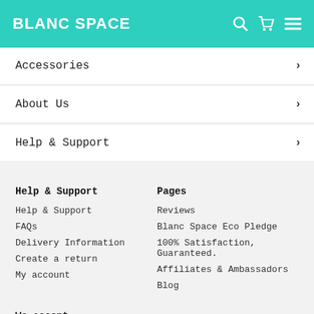BLANC SPACE
Accessories
About Us
Help & Support
Help & Support
Pages
Help & Support
Reviews
FAQs
Blanc Space Eco Pledge
Delivery Information
100% Satisfaction, Guaranteed.
Create a return
Affiliates & Ambassadors
My account
Blog
We accept